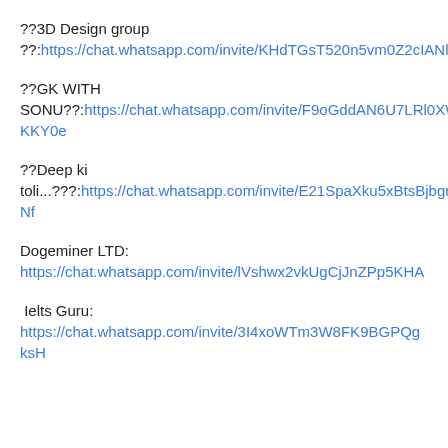??3D Design group
??:https://chat.whatsapp.com/invite/KHdTGsT520n5vm0Z2cIANl
??GK WITH SONU??:https://chat.whatsapp.com/invite/F9oGddAN6U7LRl0XWkKY0e
??Deep ki toli...???:https://chat.whatsapp.com/invite/E21SpaXku5xBtsBjbgrPNf
Dogeminer LTD: https://chat.whatsapp.com/invite/lVshwx2vkUgCjJnZPp5KHA
Ielts Guru: https://chat.whatsapp.com/invite/3I4xoWTm3W8FK9BGPQgksH